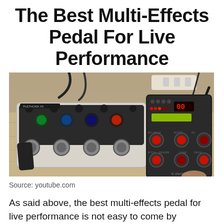The Best Multi-Effects Pedal For Live Performance
[Figure (photo): Two multi-effects guitar pedals on a wooden floor — a TC Electronic Plethora X5 on the left and a Boss/Line 6 style multi-effects unit on the right, with cables and a power strip visible in the background.]
Source: youtube.com
As said above, the best multi-effects pedal for live performance is not easy to come by